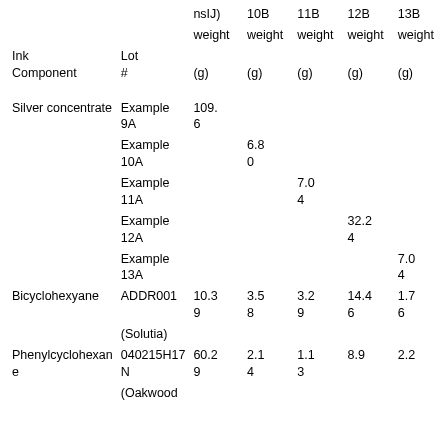| Ink Component | Lot # | nsIJ) weight (g) | 10B weight (g) | 11B weight (g) | 12B weight (g) | 13B weight (g) |
| --- | --- | --- | --- | --- | --- | --- |
| Silver concentrate | Example 9A | 109.6 |  |  |  |  |
| Silver concentrate | Example 10A |  | 6.80 |  |  |  |
| Silver concentrate | Example 11A |  |  | 7.04 |  |  |
| Silver concentrate | Example 12A |  |  |  | 32.24 |  |
| Silver concentrate | Example 13A |  |  |  |  | 7.04 |
| Bicyclohexyane | ADDR001 (Solutia) | 10.39 | 3.58 | 3.29 | 14.46 | 1.76 |
| Phenylcyclohexane | 040215H17N (Oakwood | 60.29 | 2.14 | 1.13 | 8.9 | 2.2 |